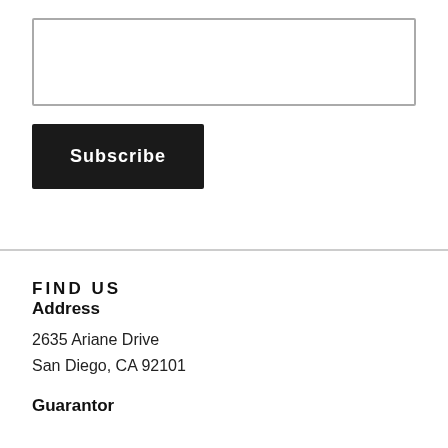Subscribe
FIND US
Address
2635 Ariane Drive
San Diego, CA 92101
Guarantor